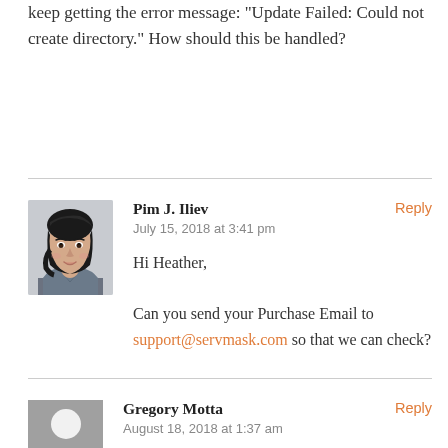keep getting the error message: "Update Failed: Could not create directory." How should this be handled?
Pim J. Iliev — July 15, 2018 at 3:41 pm — Hi Heather,

Can you send your Purchase Email to support@servmask.com so that we can check?
Gregory Motta — August 18, 2018 at 1:37 am